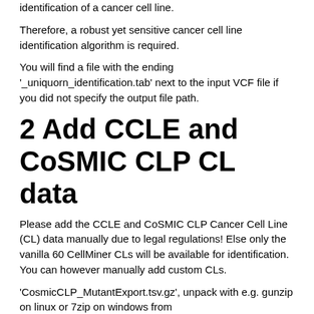identification of a cancer cell line.
Therefore, a robust yet sensitive cancer cell line identification algorithm is required.
You will find a file with the ending '_uniquorn_identification.tab' next to the input VCF file if you did not specify the output file path.
2 Add CCLE and CoSMIC CLP CL data
Please add the CCLE and CoSMIC CLP Cancer Cell Line (CL) data manually due to legal regulations! Else only the vanilla 60 CellMiner CLs will be available for identification. You can however manually add custom CLs.
'CosmicCLP_MutantExport.tsv.gz', unpack with e.g. gunzip on linux or 7zip on windows from http://cancer.sanger.ac.uk/cell_lines As of October the eights 2018, this is the first file listed, i.e. on top. If you cannot find the file, search for its name.
Important: utilizing the correct reference genome version is of utmost importance. In case of Cosmic CLP, ascertain that the